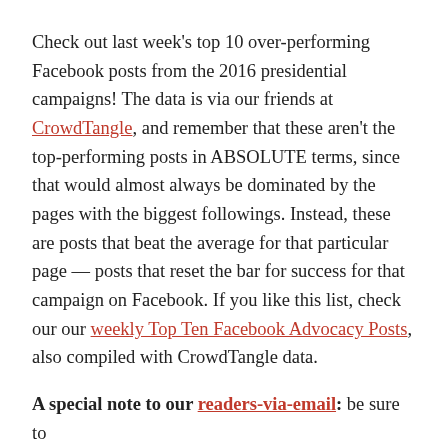Check out last week's top 10 over-performing Facebook posts from the 2016 presidential campaigns! The data is via our friends at CrowdTangle, and remember that these aren't the top-performing posts in ABSOLUTE terms, since that would almost always be dominated by the pages with the biggest followings. Instead, these are posts that beat the average for that particular page — posts that reset the bar for success for that campaign on Facebook. If you like this list, check our our weekly Top Ten Facebook Advocacy Posts, also compiled with CrowdTangle data.
A special note to our readers-via-email: be sure to